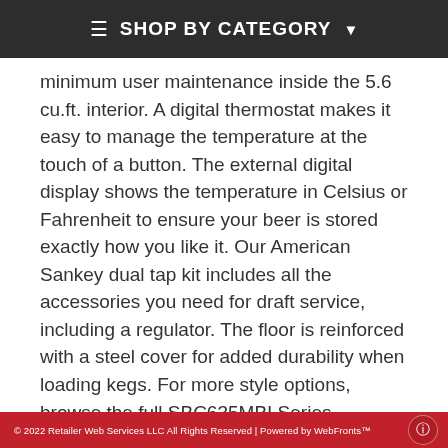≡  SHOP BY CATEGORY ▾
minimum user maintenance inside the 5.6 cu.ft. interior. A digital thermostat makes it easy to manage the temperature at the touch of a button. The external digital display shows the temperature in Celsius or Fahrenheit to ensure your beer is stored exactly how you like it. Our American Sankey dual tap kit includes all the accessories you need for draft service, including a regulator. The floor is reinforced with a steel cover for added durability when loading kegs. For more style options, browse the full SBC635MBI Series.
FEATURES
Large 5.6 cu.ft. interior can accept a full half barrel
© 2022 Retailer Web Services LLC All Rights Reserved | Powered by WebFronts™